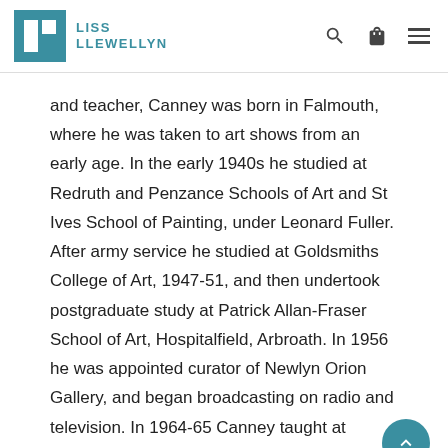LISS LLEWELLYN
and teacher, Canney was born in Falmouth, where he was taken to art shows from an early age. In the early 1940s he studied at Redruth and Penzance Schools of Art and St Ives School of Painting, under Leonard Fuller. After army service he studied at Goldsmiths College of Art, 1947-51, and then undertook postgraduate study at Patrick Allan-Fraser School of Art, Hospitalfield, Arbroath. In 1956 he was appointed curator of Newlyn Orion Gallery, and began broadcasting on radio and television. In 1964-65 Canney taught at Plymouth College of Art and then in 1965-